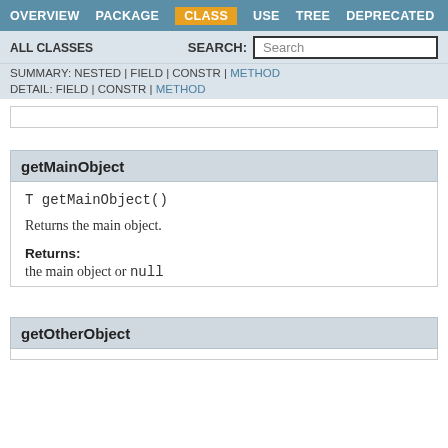OVERVIEW  PACKAGE  CLASS  USE  TREE  DEPRECATED
ALL CLASSES   SEARCH: [Search]
SUMMARY: NESTED | FIELD | CONSTR | METHOD
DETAIL: FIELD | CONSTR | METHOD
getMainObject
T getMainObject()
Returns the main object.
Returns:
the main object or null
getOtherObject